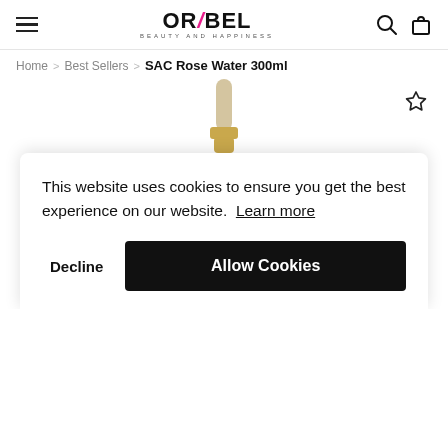ORABEL BEAUTY AND HAPPINESS — navigation header with hamburger menu, logo, search and cart icons
Home > Best Sellers > SAC Rose Water 300ml
[Figure (photo): SAC Rose Water 300ml product bottle — red rounded bottle with gold/silver pump dispenser, partially visible]
This website uses cookies to ensure you get the best experience on our website. Learn more
Decline   Allow Cookies